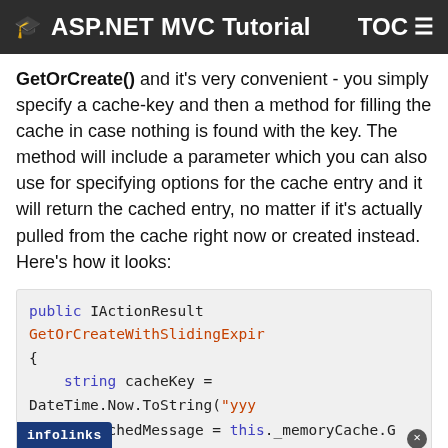ASP.NET MVC Tutorial   TOC
GetOrCreate() and it's very convenient - you simply specify a cache-key and then a method for filling the cache in case nothing is found with the key. The method will include a parameter which you can also use for specifying options for the cache entry and it will return the cached entry, no matter if it's actually pulled from the cache right now or created instead. Here's how it looks:
public IActionResult GetOrCreateWithSlidingExpir
{
    string cacheKey = DateTime.Now.ToString("yyy
    string cachedMessage = this._memoryCache.G